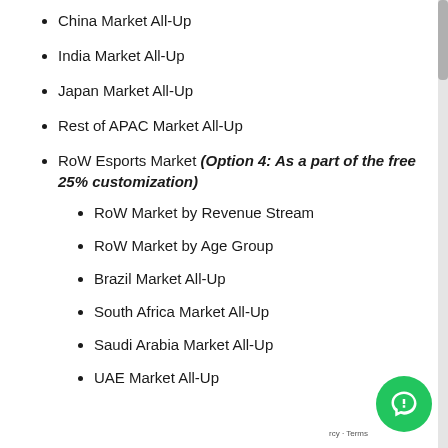China Market All-Up
India Market All-Up
Japan Market All-Up
Rest of APAC Market All-Up
RoW Esports Market (Option 4: As a part of the free 25% customization)
RoW Market by Revenue Stream
RoW Market by Age Group
Brazil Market All-Up
South Africa Market All-Up
Saudi Arabia Market All-Up
UAE Market All-Up